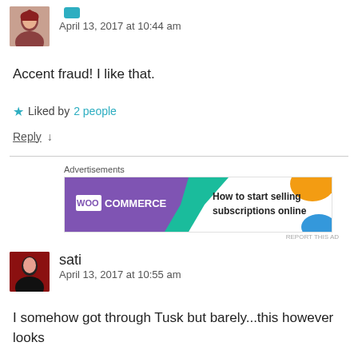April 13, 2017 at 10:44 am
Accent fraud! I like that.
★ Liked by 2 people
Reply ↓
[Figure (other): WooCommerce advertisement banner: How to start selling subscriptions online]
sati
April 13, 2017 at 10:55 am
I somehow got through Tusk but barely...this however looks